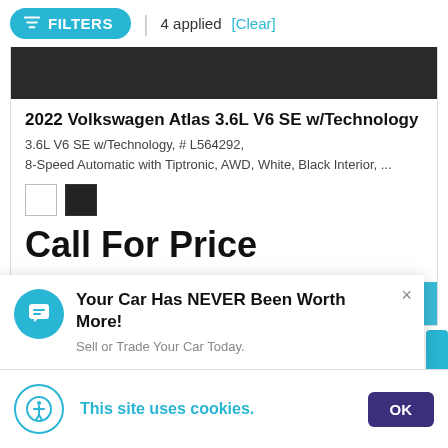FILTERS | 4 applied [Clear]
[Figure (photo): Dark/charcoal textured car roof or top portion of a vehicle image]
2022 Volkswagen Atlas 3.6L V6 SE w/Technology
3.6L V6 SE w/Technology, # L564292,
8-Speed Automatic with Tiptronic, AWD, White, Black Interior, ...
[Figure (illustration): Two color swatches: white square and black square indicating exterior/interior color options]
Call For Price
VIEW DETAILS
Your Car Has NEVER Been Worth More!
Sell or Trade Your Car Today.
This site uses cookies.